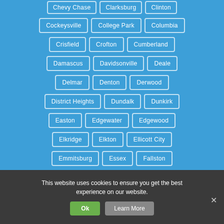Chevy Chase
Clarksburg
Clinton
Cockeysville
College Park
Columbia
Crisfield
Crofton
Cumberland
Damascus
Davidsonville
Deale
Delmar
Denton
Derwood
District Heights
Dundalk
Dunkirk
Easton
Edgewater
Edgewood
Elkridge
Elkton
Ellicott City
Emmitsburg
Essex
Fallston
This website uses cookies to ensure you get the best experience on our website.
Ok
Learn More